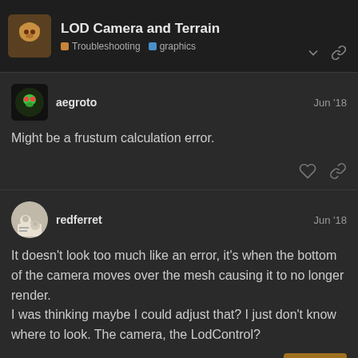LOD Camera and Terrain | Troubleshooting | graphics
aegroto — Jun '18
Might be a frustum calculation error.
redferret — Jun '18
It doesn't look too much like an error, it's when the bottom of the camera moves over the mesh causing it to no longer render. I was thinking maybe I could adjust that? I just don't know where to look. The camera, the LodControl?
5 / 17